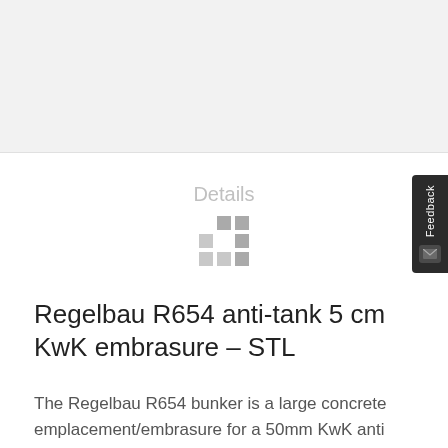[Figure (other): Gray placeholder image area at the top of the page, approximately 152px tall]
Details
[Figure (other): Loading spinner made of a 3x3 grid of gray squares with varying opacity]
Regelbau R654 anti-tank 5 cm KwK embrasure – STL
The Regelbau R654 bunker is a large concrete emplacement/embrasure for a 50mm KwK anti tank gun and was build in several places in the German Atlantik wall